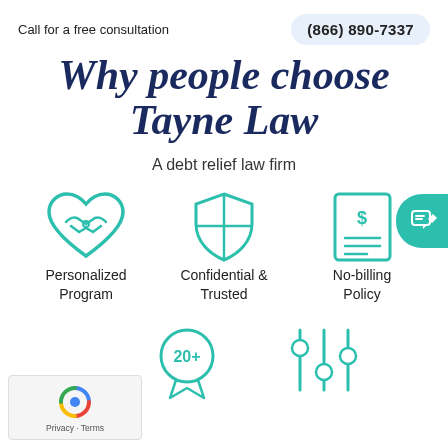Call for a free consultation
(866) 890-7337
Why people choose Tayne Law
A debt relief law firm
[Figure (illustration): Three teal icons: a handshake-heart for Personalized Program, a shield for Confidential & Trusted, and a dollar bill document for No-billing Policy. A chat/edit button is on the right edge.]
Personalized Program
Confidential & Trusted
No-billing Policy
[Figure (illustration): Two teal icons at bottom: a medal/badge with '20+' and an equalizer/sliders icon.]
[Figure (logo): reCAPTCHA widget with Privacy and Terms links.]